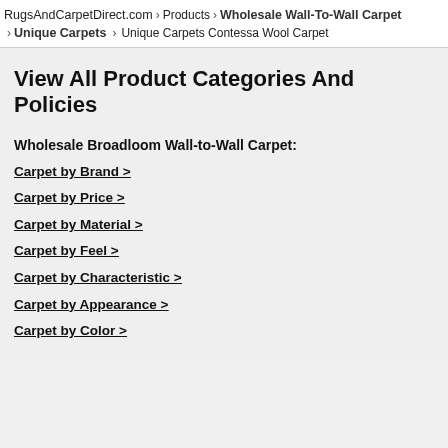RugsAndCarpetDirect.com › Products › Wholesale Wall-To-Wall Carpet › Unique Carpets › Unique Carpets Contessa Wool Carpet
View All Product Categories And Policies
Wholesale Broadloom Wall-to-Wall Carpet:
Carpet by Brand >
Carpet by Price >
Carpet by Material >
Carpet by Feel >
Carpet by Characteristic >
Carpet by Appearance >
Carpet by Color >